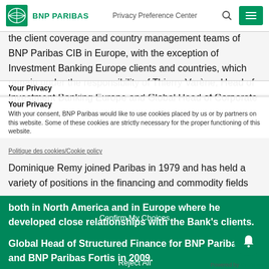BNP PARIBAS | Privacy Preference Center
the client coverage and country management teams of BNP Paribas CIB in Europe, with the exception of Investment Banking Europe clients and countries, which remain under the responsibility of Thierry Varène, Head of Investment Banking Europe and Global Head of Corporate Finance.
Your Privacy
Your Privacy
With your consent, BNP Paribas would like to use cookies placed by us or by partners on this website. Some of these cookies are strictly necessary for the proper functioning of this website.
Politique des cookies/Cookie policy
Dominique Remy joined Paribas in 1979 and has held a variety of positions in the financing and commodity fields both in North America and in Europe where he developed close relationships with the Bank's clients. He was appointed Global Head of Structured Finance for BNP Paribas and BNP Paribas Fortis in 2009.
Confirm My Choices
Reject All
Allow All
Commenting on these appointments, Alain Papiasse, H... BNP Paribas Corporate and Investment Banking, said: "With
Powered by OneTrust